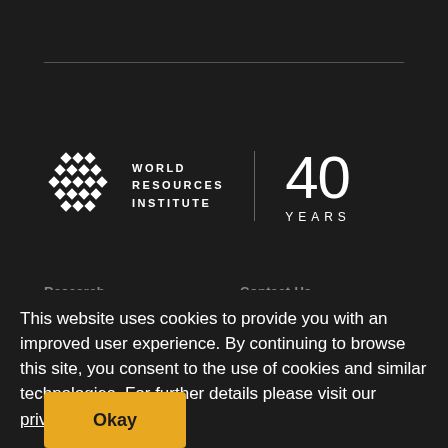[Figure (logo): World Resources Institute 40 Years logo with geometric diamond pattern icon, organization name, and 40 YEARS anniversary mark]
Research
Contact Us
This website uses cookies to provide you with an improved user experience. By continuing to browse this site, you consent to the use of cookies and similar technologies. For further details please visit our privacy policy
Okay
Careers
Internships
Privacy Policy
Africa
Asia